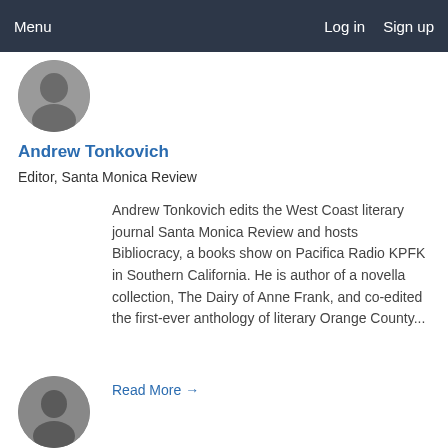Menu   Log in   Sign up
[Figure (photo): Circular black-and-white portrait photo of Andrew Tonkovich (top)]
Andrew Tonkovich
Editor, Santa Monica Review
Andrew Tonkovich edits the West Coast literary journal Santa Monica Review and hosts Bibliocracy, a books show on Pacifica Radio KPFK in Southern California. He is author of a novella collection, The Dairy of Anne Frank, and co-edited the first-ever anthology of literary Orange County...
Read More →
[Figure (photo): Circular black-and-white portrait photo of another author (bottom, partially visible)]